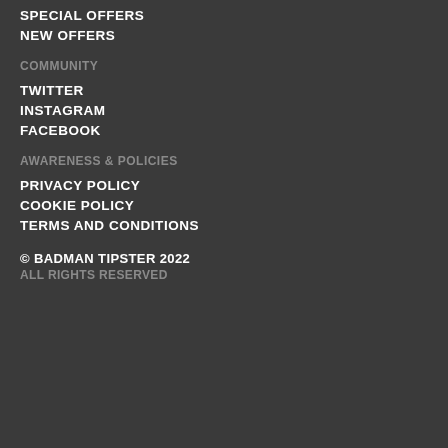SPECIAL OFFERS
NEW OFFERS
COMMUNITY
TWITTER
INSTAGRAM
FACEBOOK
AWARENESS & POLICIES
PRIVACY POLICY
COOKIE POLICY
TERMS AND CONDITIONS
© BADMAN TIPSTER 2022
ALL RIGHTS RESERVED